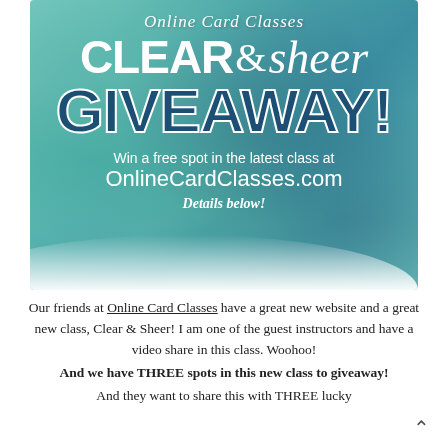[Figure (illustration): Watercolor teal/green background banner for 'Online Card Classes – Clear & Sheer Giveaway!' with white and navy text. Text includes script 'Online Card Classes', large bold 'CLEAR & sheer' and 'GIVEAWAY!', plus 'Win a free spot in the latest class at OnlineCardClasses.com – Details below!']
Our friends at Online Card Classes have a great new website and a great new class, Clear & Sheer! I am one of the guest instructors and have a video share in this class. Woohoo!
And we have THREE spots in this new class to giveaway!